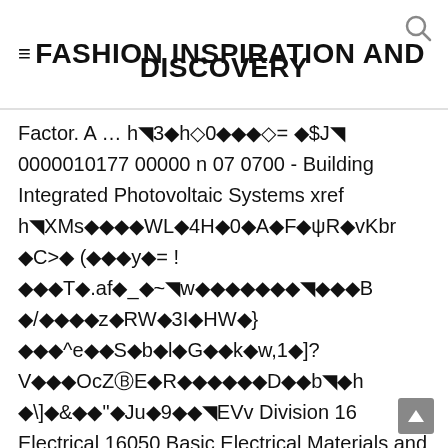≡FASHION INSPIRATION AND DISCOVERY
Factor. A … h�3⬥h⬧0⬥⬦⬥⬧= ⬧$J⬧ 0000010177 00000 n 07 0700 - Building Integrated Photovoltaic Systems xref h⬧XMs⬧⬧⬧⬧WL⬧4H⬧0⬧A⬧F⬧ψR⬧vKbr⬧C>⬧ (⬧⬧⬧y⬧= ! ⬧⬧⬧T⬧.af⬧_⬧~⬧w⬧⬧⬧⬧⬧⬧⬧⬧⬧⬧⬧B ⬧/⬧⬧⬧⬧z⬧RW⬧3I⬧HW⬧} ⬧⬧⬧^e⬧⬧S⬧b⬧l⬧G⬧⬧k⬧w,1⬧]? V⬧⬧⬧OcZ⬧E⬧R⬧⬧⬧⬧⬧⬧D⬧⬧b⬧⬧h ⬧\]⬧&⬧⬧"⬧Ju⬧9⬧⬧⬧EVv Division 16 Electrical 16050 Basic Electrical Materials and Methods 16110 Conduite Raceway Race...